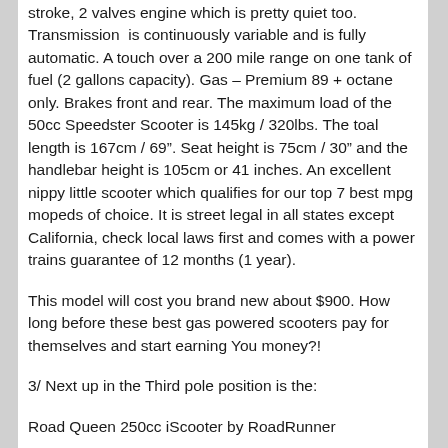stroke, 2 valves engine which is pretty quiet too. Transmission is continuously variable and is fully automatic. A touch over a 200 mile range on one tank of fuel (2 gallons capacity). Gas – Premium 89 + octane only. Brakes front and rear. The maximum load of the 50cc Speedster Scooter is 145kg / 320lbs. The toal length is 167cm / 69″. Seat height is 75cm / 30″ and the handlebar height is 105cm or 41 inches. An excellent nippy little scooter which qualifies for our top 7 best mpg mopeds of choice. It is street legal in all states except California, check local laws first and comes with a power trains guarantee of 12 months (1 year).
This model will cost you brand new about $900. How long before these best gas powered scooters pay for themselves and start earning You money?!
3/ Next up in the Third pole position is the:
Road Queen 250cc iScooter by RoadRunner
This is truly one of the best mpg mopeds that you can